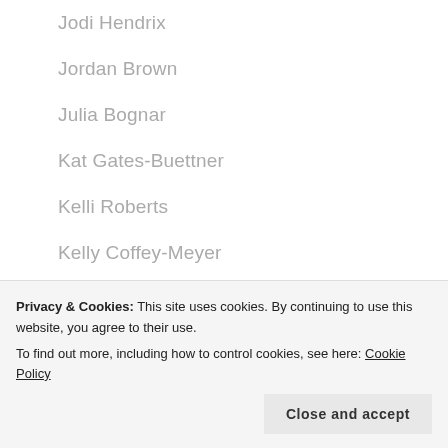Jodi Hendrix
Jordan Brown
Julia Bognar
Kat Gates-Buettner
Kelli Roberts
Kelly Coffey-Meyer
Kelsie Daniels
Kit Rich
Leslie Sansone
Privacy & Cookies: This site uses cookies. By continuing to use this website, you agree to their use. To find out more, including how to control cookies, see here: Cookie Policy
Close and accept